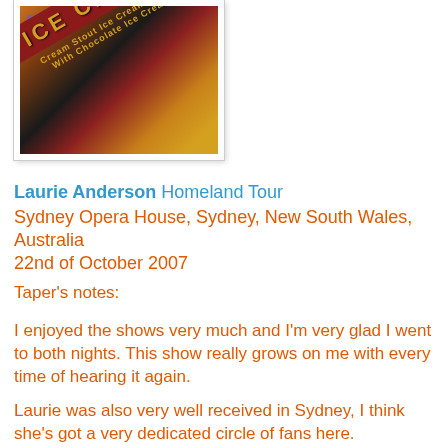[Figure (photo): Close-up photo of an ice cream beer label on a dark background. The label reads 'ICE CREAM' in large yellow letters on a dark red/maroon background, with text 'Cream Stout Ice Cream Stout with Chocolate Ice Cream' on a diagonal band. An ampersand symbol is visible in purple at top left.]
Laurie Anderson Homeland Tour
Sydney Opera House, Sydney, New South Wales, Australia
22nd of October 2007
Taper's notes:
I enjoyed the shows very much and I'm very glad I went to both nights. This show really grows on me with every time of hearing it again.
Laurie was also very well received in Sydney, I think she's got a very dedicated circle of fans here.